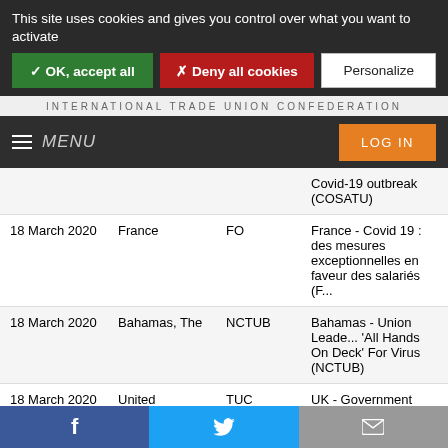This site uses cookies and gives you control over what you want to activate
✓ OK, accept all | ✗ Deny all cookies | Personalize
INTERNATIONAL TRADE UNION CONFEDERATION
MENU | LOG IN
| Date | Country | Union | Title |
| --- | --- | --- | --- |
|  |  |  | Covid-19 outbreak (COSATU) |
| 18 March 2020 | France | FO | France - Covid 19 : des mesures exceptionnelles en faveur des salariés (F... |
| 18 March 2020 | Bahamas, The | NCTUB | Bahamas - Union Leader 'All Hands On Deck' For Virus (NCTUB) |
| 18 March 2020 | United Kingdom | TUC | UK - Government must follow support for firms with wage subsidies to protec... |
Facebook | Twitter | Email